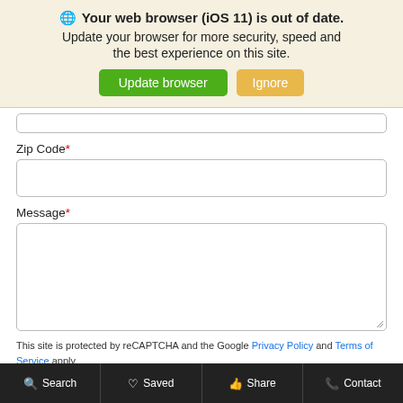[Figure (screenshot): Browser update banner with globe icon, bold title 'Your web browser (iOS 11) is out of date.', subtitle text, green 'Update browser' button and orange 'Ignore' button on a beige background.]
Zip Code *
Message *
This site is protected by reCAPTCHA and the Google Privacy Policy and Terms of Service apply.
Search   Saved   Share   Contact